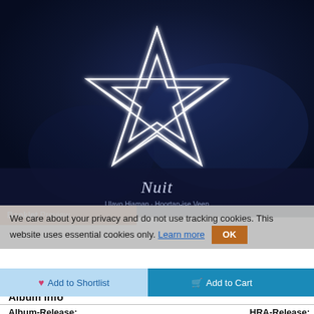[Figure (illustration): Dark navy blue album cover with a glowing white seven-pointed star (heptagram) geometric outline in the center, with a semi-transparent dark overlay at the bottom showing the album title 'Nuit' in italic serif font and a subtitle line below it.]
Booklet Preview
We care about your privacy and do not use tracking cookies. This website uses essential cookies only. Learn more OK
Add to Shortlist
Add to Cart
Album info
Album-Release:	HRA-Release: